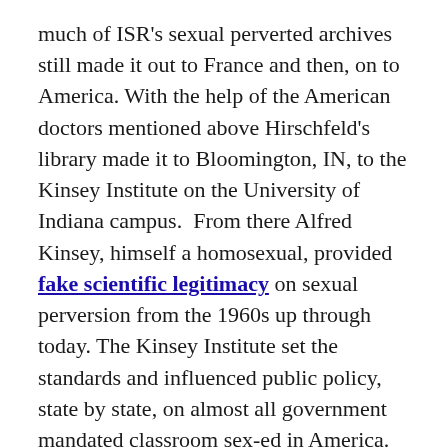much of ISR's sexual perverted archives still made it out to France and then, on to America. With the help of the American doctors mentioned above Hirschfeld's library made it to Bloomington, IN, to the Kinsey Institute on the University of Indiana campus.  From there Alfred Kinsey, himself a homosexual, provided fake scientific legitimacy on sexual perversion from the 1960s up through today. The Kinsey Institute set the standards and influenced public policy, state by state, on almost all government mandated classroom sex-ed in America.  Hundreds of thousands of Iowans, alone, have been degraded by such.

This brings us to today.  If we sit idly by much